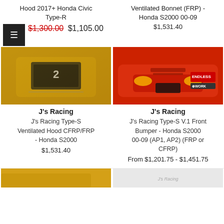Hood 2017+ Honda Civic Type-R
Ventilated Bonnet (FRP) - Honda S2000 00-09
$1,300.00 $1,105.00
$1,531.40
[Figure (photo): Top-down view of a yellow Honda S2000 with a ventilated carbon/FRP hood, number 2 visible]
[Figure (photo): Red Honda S2000 race car with front bumper, Endless and Work logos visible]
J's Racing
J's Racing
J's Racing Type-S Ventilated Hood CFRP/FRP - Honda S2000
J's Racing Type-S V.1 Front Bumper - Honda S2000 00-09 (AP1, AP2) (FRP or CFRP)
$1,531.40
From $1,201.75 - $1,451.75
[Figure (photo): Partial view of a yellow car at bottom left]
[Figure (photo): Partial view of a white car product at bottom right with J's Racing logo]